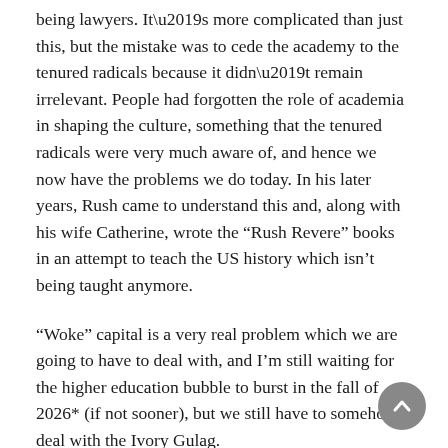being lawyers. It’s more complicated than just this, but the mistake was to cede the academy to the tenured radicals because it didn’t remain irrelevant. People had forgotten the role of academia in shaping the culture, something that the tenured radicals were very much aware of, and hence we now have the problems we do today. In his later years, Rush came to understand this and, along with his wife Catherine, wrote the “Rush Revere” books in an attempt to teach the US history which isn’t being taught anymore.
“Woke” capital is a very real problem which we are going to have to deal with, and I’m still waiting for the higher education bubble to burst in the fall of 2026* (if not sooner), but we still have to somehow deal with the Ivory Gulag.